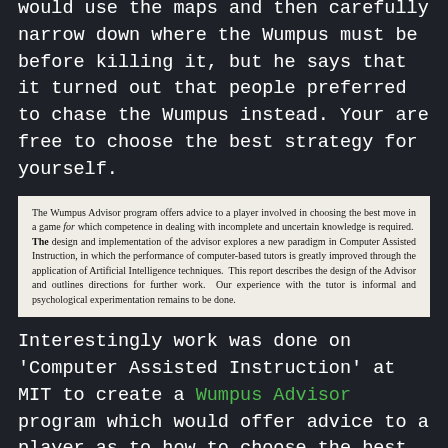Gregory Yob envisioned that people would use the maps and then carefully narrow down where the Wumpus must be before killing it, but he says that it turned out that people preferred to chase the Wumpus instead. Your are free to choose the best strategy for yourself.
The Wumpus Advisor program offers advice to a player involved in choosing the best move in a game for which competence in dealing with incomplete and uncertain knowledge is required. The design and implementation of the advisor explores a new paradigm in Computer Assisted Instruction, in which the performance of computer-based tutors is greatly improved through the application of Artificial Intelligence techniques. This report describes the design of the Advisor and outlines directions for further work. Our experience with the tutor is informal and psychological experimentation remains to be done.
Interestingly work was done on 'Computer Assisted Instruction' at MIT to create a Wumpus Advisor program which would offer advice to a player as to how to choose the best